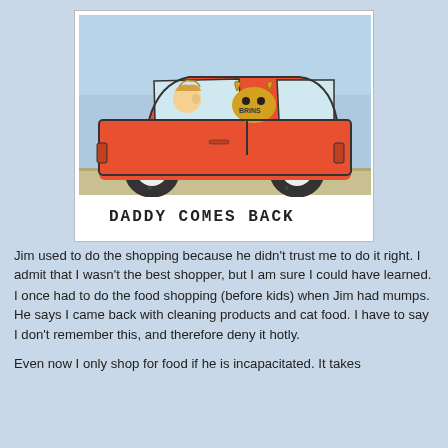[Figure (illustration): Child's crayon drawing of a red car (sedan) with a person driving and a creature in the back seat labeled 'BRINS'. Below the car is printed text: 'DADDY COMES BACK'. The background is light blue sky and tan/green ground.]
Jim used to do the shopping because he didn't trust me to do it right.  I admit that I wasn't the best shopper, but I am sure I could have learned.
I once had to do the food shopping (before kids)  when Jim had mumps.  He says I came back with cleaning products and cat food.  I have to say I don't remember this, and therefore deny it hotly.
Even now I only shop for food if he is incapacitated.  It takes